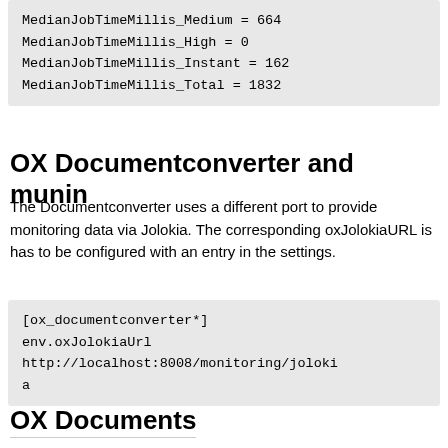MedianJobTimeMillis_Medium = 664
MedianJobTimeMillis_High = 0
MedianJobTimeMillis_Instant = 162
MedianJobTimeMillis_Total = 1832
OX Documentconverter and munin
The Documentconverter uses a different port to provide monitoring data via Jolokia. The corresponding oxJolokiaURL is has to be configured with an entry in the settings.
[ox_documentconverter*]
env.oxJolokiaUrl
http://localhost:8008/monitoring/jolokia
OX Documents